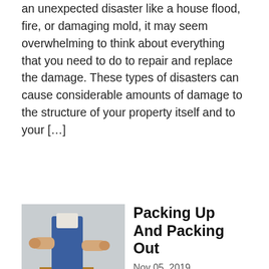an unexpected disaster like a house flood, fire, or damaging mold, it may seem overwhelming to think about everything that you need to do to repair and replace the damage. These types of disasters can cause considerable amounts of damage to the structure of your property itself and to your […]
[Figure (photo): Person wearing blue overalls taping a cardboard moving box with packing tape]
Packing Up And Packing Out
Nov 05, 2019
If you have ever lived in a place, whether it be an apartment or home, for longer than about six months, you will understand when I say that items seem to collect. No matter how hard you try, items continue to pile up. Even though you seem to wear the same articles of clothing… […]